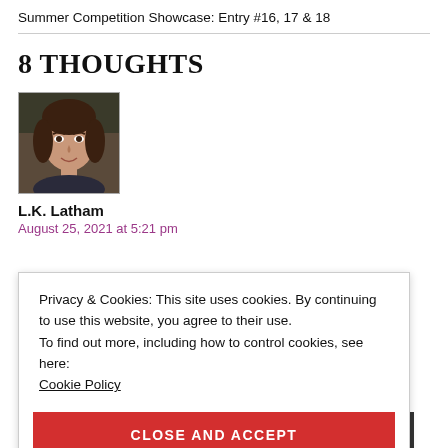Summer Competition Showcase: Entry #16, 17 & 18
8 THOUGHTS
[Figure (photo): Avatar photo of L.K. Latham, a woman with dark brown hair, smiling]
L.K. Latham
August 25, 2021 at 5:21 pm
Privacy & Cookies: This site uses cookies. By continuing to use this website, you agree to their use. To find out more, including how to control cookies, see here: Cookie Policy
CLOSE AND ACCEPT
for listeners.